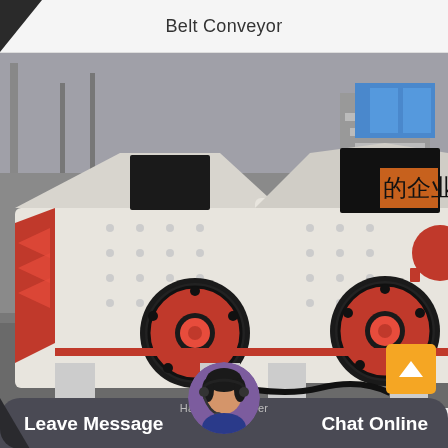Belt Conveyor
[Figure (photo): Two large white industrial impact crushers/hammer crushers with red flywheel accents, photographed inside a factory/warehouse setting. The machines have heavy steel bodies, large circular flywheels with red trim, and feed hoppers on top. Chinese characters visible in background.]
Hammer Crusher
Leave Message   Chat Online